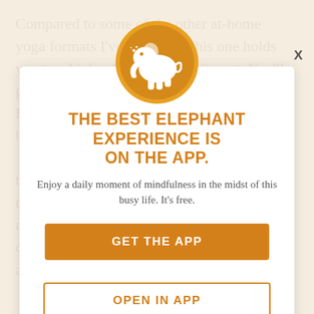Compared to some of the other at-home yoga formats I've reviewed, this one holds you to a higher level of commitment. You'll get a good workout and work up a sweat. But I still wouldn't recommend even the beginner's class for a beginner. The fuzzy the fact that and may not be able to progress while with your time this makes this only useful for someone who is confident in their and can follow easily along.
[Figure (logo): Orange circle with white elephant silhouette logo for Elephant app]
THE BEST ELEPHANT EXPERIENCE IS ON THE APP.
Enjoy a daily moment of mindfulness in the midst of this busy life. It's free.
GET THE APP
OPEN IN APP